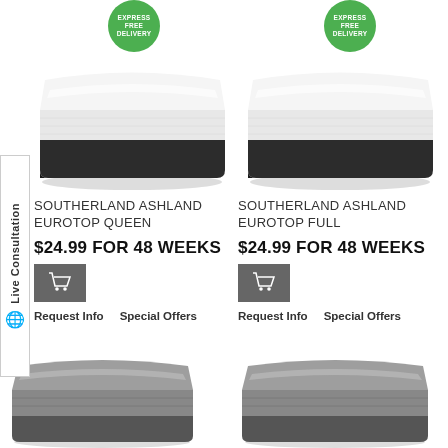[Figure (photo): Southerland Ashland Eurotop Queen mattress with FREE DELIVERY badge]
[Figure (photo): Southerland Ashland Eurotop Full mattress with FREE DELIVERY badge]
SOUTHERLAND ASHLAND EUROTOP QUEEN
$24.99 FOR 48 WEEKS
Request Info    Special Offers
SOUTHERLAND ASHLAND EUROTOP FULL
$24.99 FOR 48 WEEKS
Request Info    Special Offers
[Figure (photo): Third mattress product image bottom left]
[Figure (photo): Fourth mattress product image bottom right]